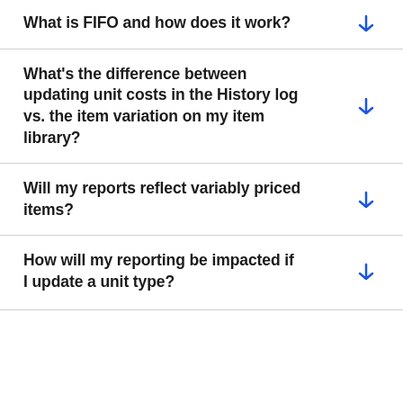What is FIFO and how does it work?
What's the difference between updating unit costs in the History log vs. the item variation on my item library?
Will my reports reflect variably priced items?
How will my reporting be impacted if I update a unit type?